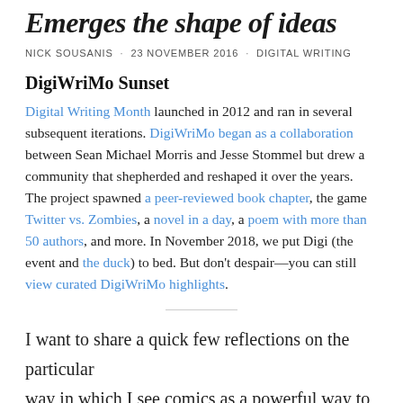Emerges the shape of ideas
NICK SOUSANIS · 23 NOVEMBER 2016 · DIGITAL WRITING
DigiWriMo Sunset
Digital Writing Month launched in 2012 and ran in several subsequent iterations. DigiWriMo began as a collaboration between Sean Michael Morris and Jesse Stommel but drew a community that shepherded and reshaped it over the years. The project spawned a peer-reviewed book chapter, the game Twitter vs. Zombies, a novel in a day, a poem with more than 50 authors, and more. In November 2018, we put Digi (the event and the duck) to bed. But don't despair—you can still view curated DigiWriMo highlights.
I want to share a quick few reflections on the particular way in which I see comics as a powerful way to express and organize our thinking. Defining this collection of